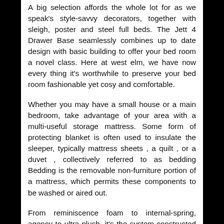A big selection affords the whole lot for as we speak's style-savvy decorators, together with sleigh, poster and steel full beds. The Jett 4 Drawer Base seamlessly combines up to date design with basic building to offer your bed room a novel class. Here at west elm, we have now every thing it's worthwhile to preserve your bed room fashionable yet cosy and comfortable.
Whether you may have a small house or a main bedroom, take advantage of your area with a multi-useful storage mattress. Some form of protecting blanket is often used to insulate the sleeper, typically mattress sheets , a quilt , or a duvet , collectively referred to as bedding Bedding is the removable non-furniture portion of a mattress, which permits these components to be washed or aired out.
From reminiscence foam to internal-spring, agency to ultra-plush, it's the system constructed at the core of the mattress that gives you one of the best support. Much of our furnishings is American-made choices and all is made to final, including stools, armchairs, aspect chairs, benches, consoles, tables, desks, kitchen islands, bar carts, side tables,